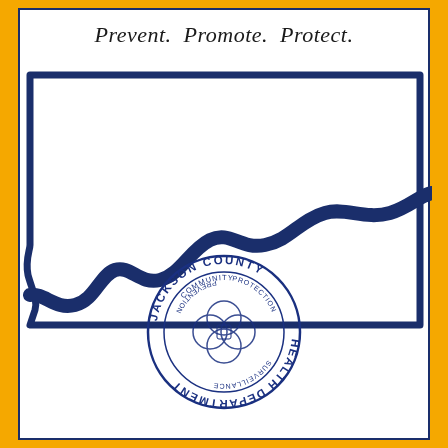Prevent. Promote. Protect.
[Figure (illustration): Dark navy blue stylized outline/silhouette of Jackson County with a winding river line running through the middle of the county outline]
[Figure (logo): Jackson County Health Department official seal: circular seal with outer ring text 'JACKSON COUNTY HEALTH DEPARTMENT', inner ring with 'COMMUNITY', 'PREVENTION', 'PROTECTION', 'SURVEILLANCE', and a four-leaf/petal interlocking circles Venn diagram in the center, all in dark navy/blue color]